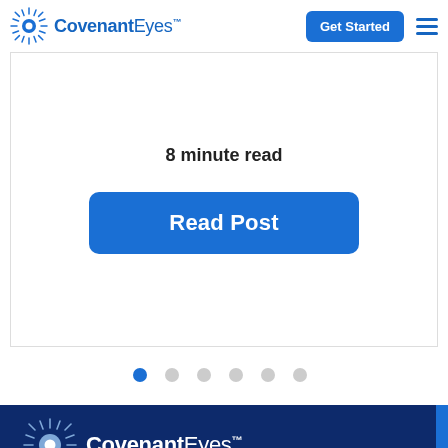Covenant Eyes - Get Started
8 minute read
Read Post
[Figure (other): Carousel pagination dots — one blue (active) and five grey dots]
[Figure (logo): Covenant Eyes logo (white version on dark blue footer background)]
Email
support@covenanteyes.com
Phone